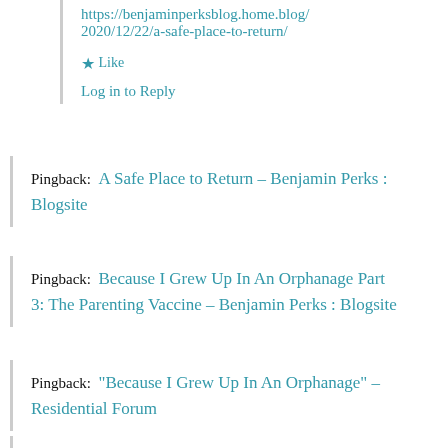https://benjaminperksblog.home.blog/2020/12/22/a-safe-place-to-return/
★ Like
Log in to Reply
Pingback:  A Safe Place to Return – Benjamin Perks : Blogsite
Pingback:  Because I Grew Up In An Orphanage Part 3: The Parenting Vaccine – Benjamin Perks : Blogsite
Pingback:  "Because I Grew Up In An Orphanage" – Residential Forum
Pingback:  A Politics of Care: How the Science of